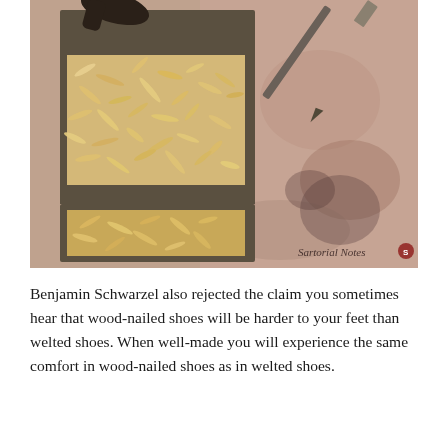[Figure (photo): Overhead close-up photo of wooden shoe lasts or woodworking tools, showing two rectangular metal trays filled with small wood shavings/chips, alongside a chisel or carving tool on a rough stone or concrete surface. A watermark reads 'Sartorial Notes' in the lower right corner.]
Benjamin Schwarzel also rejected the claim you sometimes hear that wood-nailed shoes will be harder to your feet than welted shoes. When well-made you will experience the same comfort in wood-nailed shoes as in welted shoes.